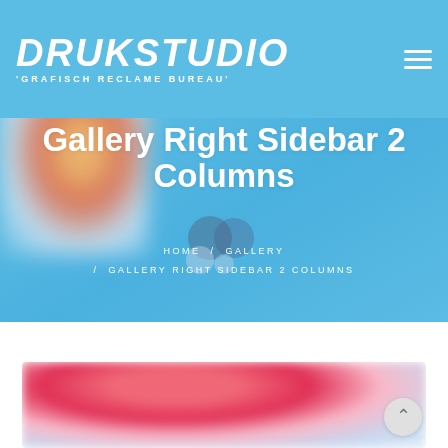DRUKSTUDIO 'GRAFISCH RECLAME BUREAU'
Gallery Right Sidebar 2 Columns
HOME / GALLERY / GALLERY RIGHT SIDEBAR 2 COLUMNS
[Figure (photo): Blurred photo of a person with colorful background, used as hero banner]
[Figure (photo): Blurred close-up photo of a person with red/pink hair and makeup, gallery thumbnail]